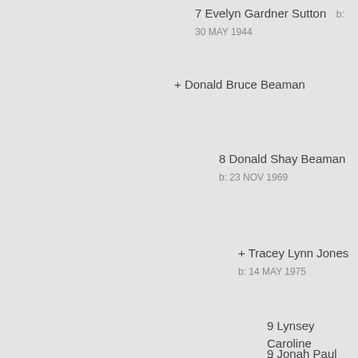7 Evelyn Gardner Sutton   b: 30 MAY 1944
+ Donald Bruce Beaman
8 Donald Shay Beaman   b: 23 NOV 1969
+ Tracey Lynn Jones   b: 14 MAY 1975
9 Lynsey Caroline Beaman   b: 22 FEB 1998
9 Jonah Paul